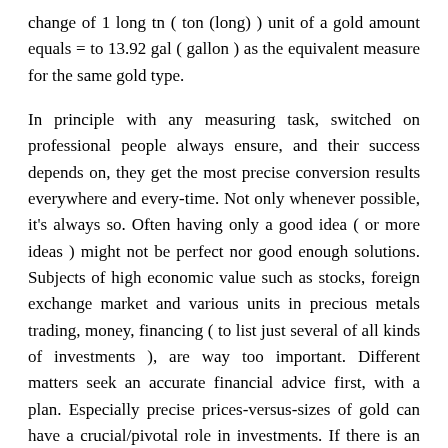change of 1 long tn ( ton (long) ) unit of a gold amount equals = to 13.92 gal ( gallon ) as the equivalent measure for the same gold type.
In principle with any measuring task, switched on professional people always ensure, and their success depends on, they get the most precise conversion results everywhere and every-time. Not only whenever possible, it's always so. Often having only a good idea ( or more ideas ) might not be perfect nor good enough solutions. Subjects of high economic value such as stocks, foreign exchange market and various units in precious metals trading, money, financing ( to list just several of all kinds of investments ), are way too important. Different matters seek an accurate financial advice first, with a plan. Especially precise prices-versus-sizes of gold can have a crucial/pivotal role in investments. If there is an exact known measure in long tn - long tons for gold amount, the rule is that the ton (long) number gets converted into gal - gallons or any other unit of gold absolutely exactly. It's like an insurance for a trader or investor who is buying. And a saving calculator for